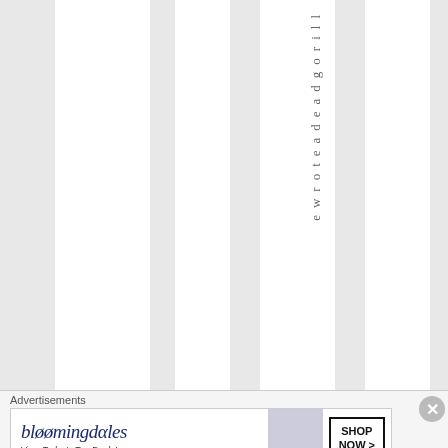[Figure (other): Page with alternating grey and white vertical stripes, and rotated vertical text reading 'ewroteadeadgorill' down the center-right column]
Advertisements
[Figure (other): Bloomingdale's advertisement banner with text 'bloomingdales View Today's Top Deals!' and 'SHOP NOW >' button, featuring an image of a woman in a hat]